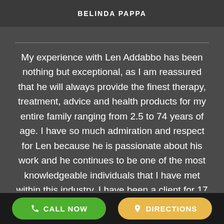BELINDA PAPPA
My experience with Len Addabbo has been nothing but exceptional, as I am reassured that he will always provide the finest therapy, treatment, advice and health products for my entire family ranging from 2.5 to 74 years of age. I have so much admiration and respect for Len because he is passionate about his work and he continues to be one of the most knowledgeable individuals that I have met within this industry. I have been a client for 17
CALL NOW   DIRECTIONS